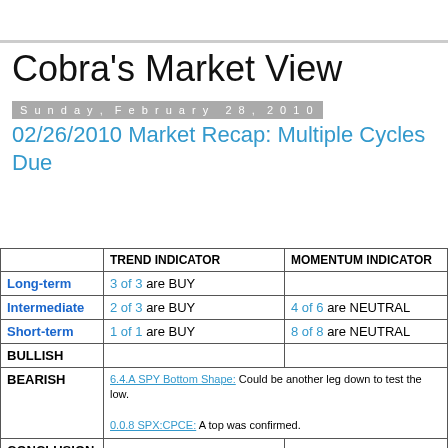Cobra's Market View
Sunday, February 28, 2010
02/26/2010 Market Recap: Multiple Cycles Due
|  | TREND INDICATOR | MOMENTUM INDICATOR |
| --- | --- | --- |
| Long-term | 3 of 3 are BUY |  |
| Intermediate | 2 of 3 are BUY | 4 of 6 are NEUTRAL |
| Short-term | 1 of 1 are BUY | 8 of 8 are NEUTRAL |
| BULLISH |  |  |
| BEARISH | 6.4.A SPY Bottom Shape: Could be another leg down to test the low.
0.0.8 SPX:CPCE: A top was confirmed. |  |
| CONCLUSION |  |  |